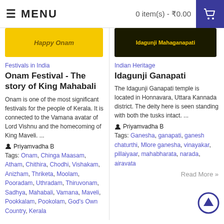MENU   0 item(s) - ₹0.00
[Figure (photo): Yellow banner with text 'Happy Onam']
Festivals in India
Onam Festival - The story of King Mahabali
Onam is one of the most significant festivals for the people of Kerala. It is connected to the Vamana avatar of Lord Vishnu and the homecoming of King Maveli. ...
Priyamvadha B
Tags: Onam, Chinga Maasam, Atham, Chithira, Chodhi, Vishakam, Anizham, Thriketa, Moolam, Pooradam, Uthradam, Thiruvonam, Sadhya, Mahabali, Vamana, Maveli, Pookkalam, Pookolam, God's Own Country, Kerala
[Figure (photo): Dark banner with text 'Idagunji Mahaganapati']
Indian Heritage
Idagunji Ganapati
The Idagunji Ganapati temple is located in Honnavara, Uttara Kannada district. The deity here is seen standing with both the tusks intact. ...
Priyamvadha B
Tags: Ganesha, ganapati, ganesh chaturthi, Mlore ganesha, vinayakar, pillaiyaar, mahabharata, narada, airavata
Read More »